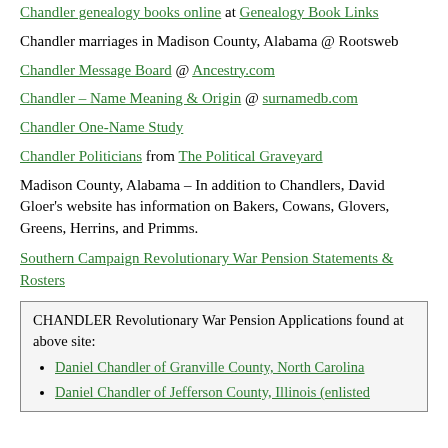Chandler genealogy books online at Genealogy Book Links
Chandler marriages in Madison County, Alabama @ Rootsweb
Chandler Message Board @ Ancestry.com
Chandler – Name Meaning & Origin @ surnamedb.com
Chandler One-Name Study
Chandler Politicians from The Political Graveyard
Madison County, Alabama – In addition to Chandlers, David Gloer's website has information on Bakers, Cowans, Glovers, Greens, Herrins, and Primms.
Southern Campaign Revolutionary War Pension Statements & Rosters
CHANDLER Revolutionary War Pension Applications found at above site:
Daniel Chandler of Granville County, North Carolina
Daniel Chandler of Jefferson County, Illinois (enlisted